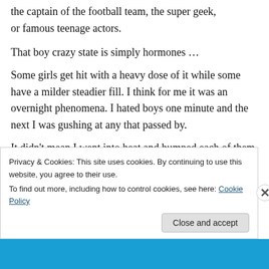the captain of the football team, the super geek, or famous teenage actors.
That boy crazy state is simply hormones …
Some girls get hit with a heavy dose of it while some have a milder steadier fill. I think for me it was an overnight phenomena. I hated boys one minute and the next I was gushing at any that passed by.
It didn't mean I went into heat and humped each of them. How you choose to live your life is on you. Not your hormones.
Privacy & Cookies: This site uses cookies. By continuing to use this website, you agree to their use.
To find out more, including how to control cookies, see here: Cookie Policy